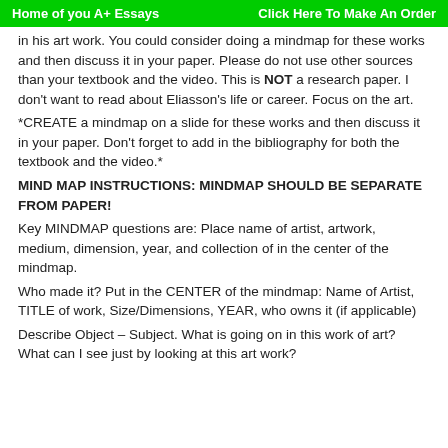Home of you A+ Essays    Click Here To Make An Order
in his art work. You could consider doing a mindmap for these works and then discuss it in your paper. Please do not use other sources than your textbook and the video. This is NOT a research paper. I don't want to read about Eliasson's life or career. Focus on the art.
*CREATE a mindmap on a slide for these works and then discuss it in your paper. Don't forget to add in the bibliography for both the textbook and the video.*
MIND MAP INSTRUCTIONS: MINDMAP SHOULD BE SEPARATE FROM PAPER!
Key MINDMAP questions are: Place name of artist, artwork, medium, dimension, year, and collection of in the center of the mindmap.
Who made it? Put in the CENTER of the mindmap: Name of Artist, TITLE of work, Size/Dimensions, YEAR, who owns it (if applicable)
Describe Object – Subject. What is going on in this work of art? What can I see just by looking at this art work?